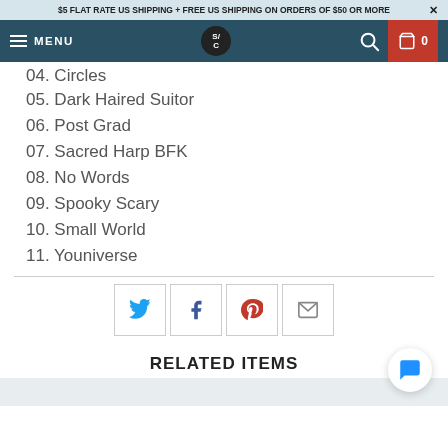$5 FLAT RATE US SHIPPING + FREE US SHIPPING ON ORDERS OF $50 OR MORE ×
MENU
04. Circles
05. Dark Haired Suitor
06. Post Grad
07. Sacred Harp BFK
08. No Words
09. Spooky Scary
10. Small World
11. Youniverse
[Figure (infographic): Social sharing icons row: Twitter (blue bird), Facebook (f), Pinterest (red P), Email (envelope)]
RELATED ITEMS